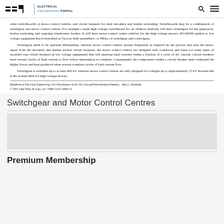EEP | ELECTRICAL ENGINEERING PORTAL
other switchboards or motor control centres, and circuit breakers for their incomers and busbar sectioning. Switchboards may be a combination of switchgear and motor control centres. For example a main high voltage switchboard for an offshore platform will have switchgear for the generators, busbar sectioning and outgoing transformer feeders. It will have motor control centre cubicles for the high voltage motors. IEC60439 applies to low voltage equipment that is described as 'factory built assemblies', or FBAs, of switchgear and controlgear.

Switchgear tends to be operated infrequently, whereas motor control centres operate frequently as required by the process that uses the motor. Apart from the incomers and busbar section circuit breakers, the motor control centres are designed with contactors and fuses (or some types of moulded case circuit breakers in low voltage equipment) that will interrupt fault currents within a fraction of a cycle of AC current. Circuit breakers need several cycles of fault current to flow before interruption is complete. Consequently the components within a circuit breaker must withstand the higher forces and heat produced when several complete cycles of fault current flow.

Switchgear is available up to at least 400 kV, whereas motor control centres are only designed for voltages up to approximately 15 kV because this is the normal limit for high voltage motors.
Handbook of Electrical Engineering: For Practitioners in the Oil, Gas and Petrochemical Industry.  Alan L. Sheldrake
© 2003 John Wiley & Sons, Ltd  ISBN: 0-471-49631-6
Switchgear and Motor Control Centres
Premium Membership